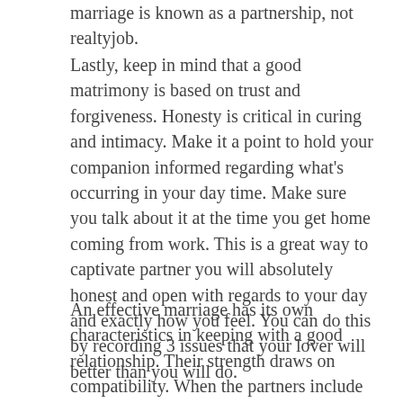marriage is known as a partnership, not realtyjob.
Lastly, keep in mind that a good matrimony is based on trust and forgiveness. Honesty is critical in curing and intimacy. Make it a point to hold your companion informed regarding what's occurring in your day time. Make sure you talk about it at the time you get home coming from work. This is a great way to captivate partner you will absolutely honest and open with regards to your day and exactly how you feel. You can do this by recording 3 issues that your lover will better than you will do.
An effective marriage has its own characteristics in keeping with a good relationship. Their strength draws on compatibility. When the partners include similar temperaments, goals, and values, might find it simpler to work together. The more compatible the couple, the better the marriage will probably be. So, if you wish to